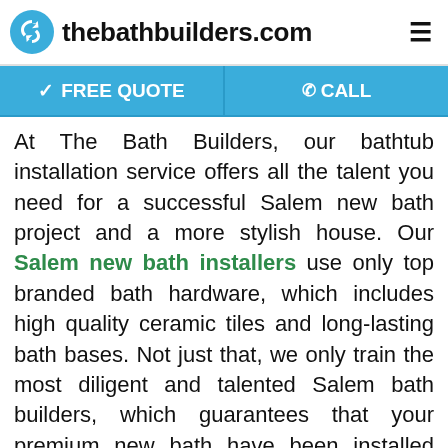thebathbuilders.com
✓ FREE QUOTE   @CALL
At The Bath Builders, our bathtub installation service offers all the talent you need for a successful Salem new bath project and a more stylish house. Our Salem new bath installers use only top branded bath hardware, which includes high quality ceramic tiles and long-lasting bath bases. Not just that, we only train the most diligent and talented Salem bath builders, which guarantees that your premium new bath have been installed masterfully. Your end result? A brilliant, attractive new bath!